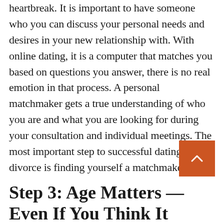heartbreak. It is important to have someone who you can discuss your personal needs and desires in your new relationship with. With online dating, it is a computer that matches you based on questions you answer, there is no real emotion in that process. A personal matchmaker gets a true understanding of who you are and what you are looking for during your consultation and individual meetings. The most important step to successful dating after divorce is finding yourself a matchmaker!
Step 3: Age Matters — Even If You Think It